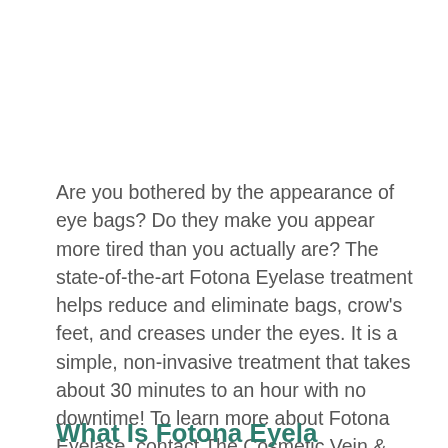Are you bothered by the appearance of eye bags? Do they make you appear more tired than you actually are? The state-of-the-art Fotona Eyelase treatment helps reduce and eliminate bags, crow's feet, and creases under the eyes. It is a simple, non-invasive treatment that takes about 30 minutes to an hour with no downtime! To learn more about Fotona Eyelase, contact The Cosmetic Vein & Laser Center in Williamsville today!
What Is Fotona Eyelase?